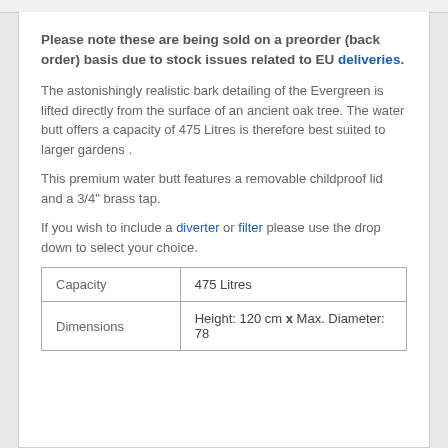Please note these are being sold on a preorder (back order) basis due to stock issues related to EU deliveries.
The astonishingly realistic bark detailing of the Evergreen is lifted directly from the surface of an ancient oak tree. The water butt offers a capacity of 475 Litres is therefore best suited to larger gardens .
This premium water butt features a removable childproof lid and a 3/4" brass tap.
If you wish to include a diverter or filter please use the drop down to select your choice.
| Capacity | 475 Litres |
| Dimensions | Height: 120 cm x Max. Diameter: 78 |